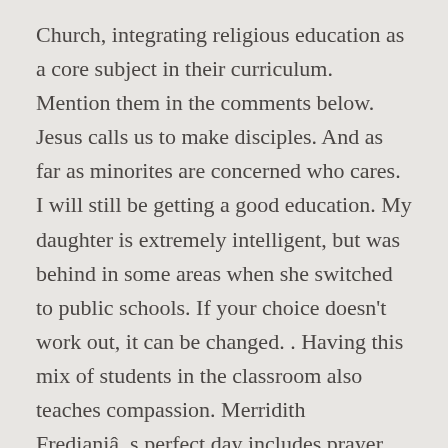Church, integrating religious education as a core subject in their curriculum. Mention them in the comments below. Jesus calls us to make disciples. And as far as minorites are concerned who cares. I will still be getting a good education. My daughter is extremely intelligent, but was behind in some areas when she switched to public schools. If your choice doesn't work out, it can be changed. . Having this mix of students in the classroom also teaches compassion. Merridith Fredianiâ  s perfect day includes prayer, writing, unrushed morning coffee, reading, tending to dahlias, and playing Sheepshead with her husband and three teenagers. In the United States, our